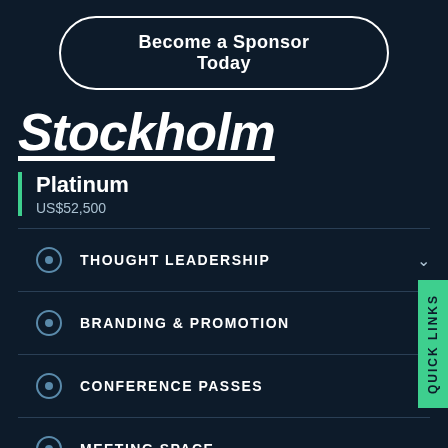Become a Sponsor Today
Stockholm
Platinum
US$52,500
THOUGHT LEADERSHIP
BRANDING & PROMOTION
CONFERENCE PASSES
MEETING SPACE
QUICK LINKS